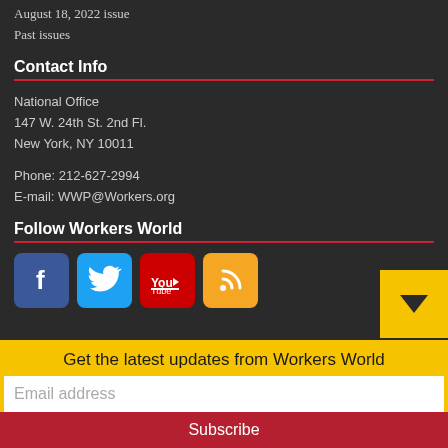August 18, 2022 issue
Past issues
Contact Info
National Office
147 W. 24th St. 2nd Fl.
New York, NY 10011

Phone: 212-627-2994
E-mail: WWP@Workers.org
Follow Workers World
[Figure (other): Social media icons: Facebook (blue), Twitter (light blue), YouTube (red), RSS (orange)]
Get the latest updates from Workers World
Email address
Subscribe